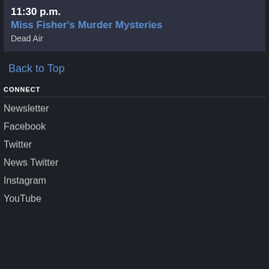11:30 p.m.
Miss Fisher's Murder Mysteries
Dead Air
Back to Top
CONNECT
Newsletter
Facebook
Twitter
News Twitter
Instagram
YouTube